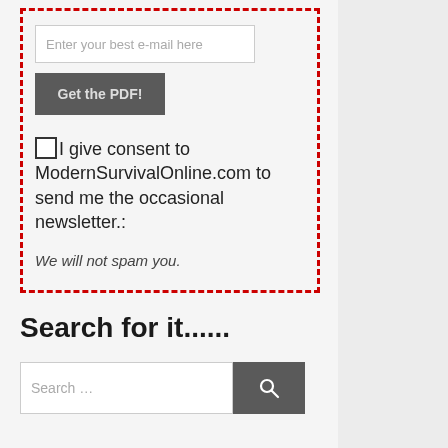[Figure (screenshot): Email signup form inside a red dashed border box. Contains an email text input field with placeholder 'Enter your best e-mail here', a dark gray 'Get the PDF!' button, a checkbox with consent text reading 'I give consent to ModernSurvivalOnline.com to send me the occasional newsletter.:', and italic text 'We will not spam you.']
Search for it......
[Figure (screenshot): Search bar with text input showing placeholder 'Search ...' and a dark gray button with a magnifying glass icon on the right.]